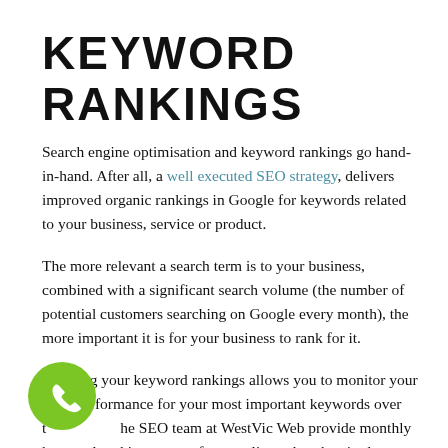KEYWORD RANKINGS
Search engine optimisation and keyword rankings go hand-in-hand. After all, a well executed SEO strategy, delivers improved organic rankings in Google for keywords related to your business, service or product.
The more relevant a search term is to your business, combined with a significant search volume (the number of potential customers searching on Google every month), the more important it is for your business to rank for it.
Tracking your keyword rankings allows you to monitor your SEO performance for your most important keywords over time. The SEO team at WestVic Web provide monthly keyword ranking reports for our clients, but there's also a
[Figure (illustration): Green circular phone call button icon in the bottom left corner]